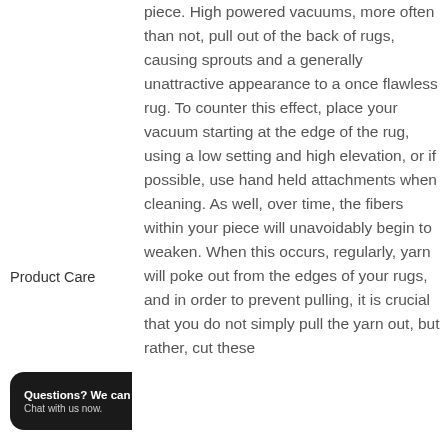Product Care
piece. High powered vacuums, more often than not, pull out of the back of rugs, causing sprouts and a generally unattractive appearance to a once flawless rug. To counter this effect, place your vacuum starting at the edge of the rug, using a low setting and high elevation, or if possible, use hand held attachments when cleaning. As well, over time, the fibers within your piece will unavoidably begin to weaken. When this occurs, regularly, yarn will poke out from the edges of your rugs, and in order to prevent pulling, it is crucial that you do not simply pull the yarn out, but rather, cut these
Questions? We can help. Chat with us now.